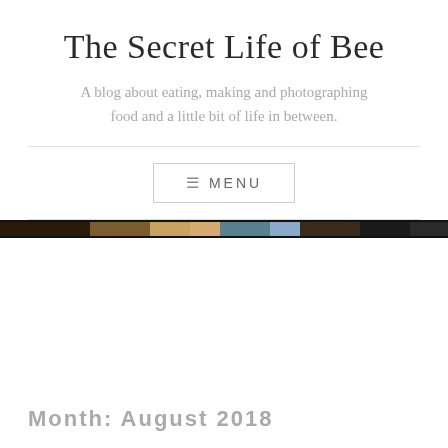The Secret Life of Bee
A blog about eating, making and photographing food and a little bit of life in between.
[Figure (other): Navigation menu button with hamburger icon and MENU label]
[Figure (photo): A narrow horizontal strip showing a cropped food/photo image spanning the full width]
Month: August 2018